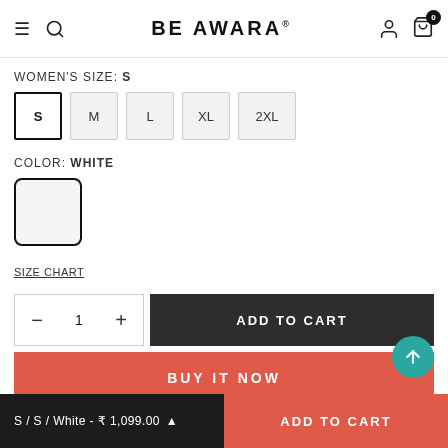BE AWARA
WOMEN'S SIZE: S
S  M  L  XL  2XL
COLOR: WHITE
[Figure (other): White color swatch - a rounded square with white/light gray fill and dark border indicating selected color]
SIZE CHART
- 1 +  ADD TO CART
BUY IT NOW
S / S / White - ₹ 1,099.00   ADD TO CART